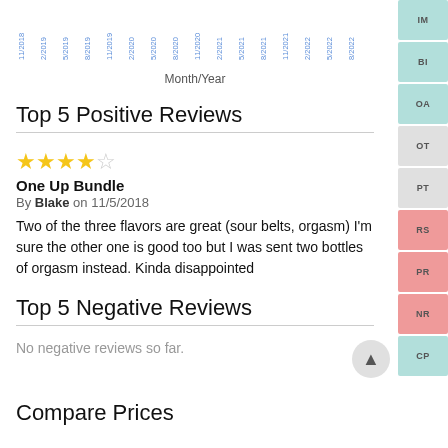[Figure (continuous-plot): Partial x-axis of a time series chart showing month/year labels from 11/2018 to 8/2022, with blue dashed line visible at top]
Month/Year
Top 5 Positive Reviews
★★★★☆
One Up Bundle
By Blake on 11/5/2018
Two of the three flavors are great (sour belts, orgasm) I'm sure the other one is good too but I was sent two bottles of orgasm instead. Kinda disappointed
Top 5 Negative Reviews
No negative reviews so far.
Compare Prices